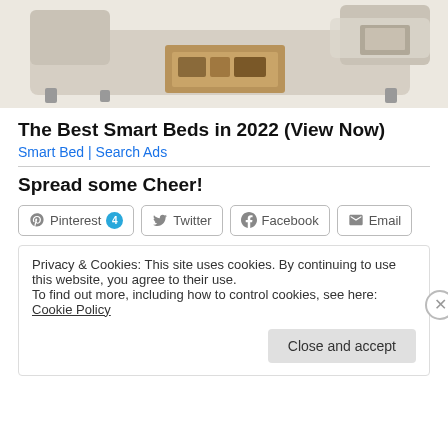[Figure (photo): Partial view of a beige/cream upholstered smart bed with wooden storage drawer open, showing the bed from above-front angle on a white background]
The Best Smart Beds in 2022 (View Now)
Smart Bed | Search Ads
Spread some Cheer!
Pinterest 4  Twitter  Facebook  Email
Privacy & Cookies: This site uses cookies. By continuing to use this website, you agree to their use.
To find out more, including how to control cookies, see here: Cookie Policy
Close and accept